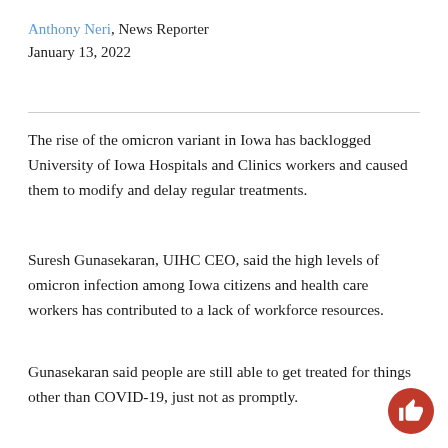Anthony Neri, News Reporter
January 13, 2022
The rise of the omicron variant in Iowa has backlogged University of Iowa Hospitals and Clinics workers and caused them to modify and delay regular treatments.
Suresh Gunasekaran, UIHC CEO, said the high levels of omicron infection among Iowa citizens and health care workers has contributed to a lack of workforce resources.
Gunasekaran said people are still able to get treated for things other than COVID-19, just not as promptly.